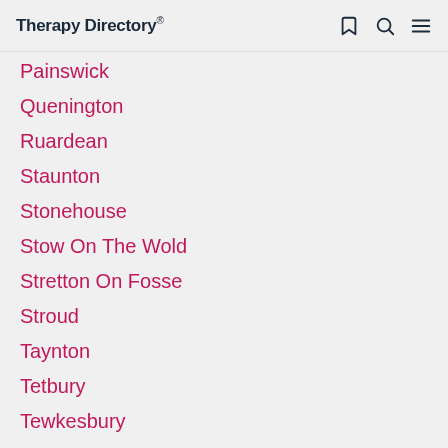Therapy Directory
Painswick
Quenington
Ruardean
Staunton
Stonehouse
Stow On The Wold
Stretton On Fosse
Stroud
Taynton
Tetbury
Tewkesbury
Whaddon
Whitecroft
Whiteshill
Winchcombe
Woodchester